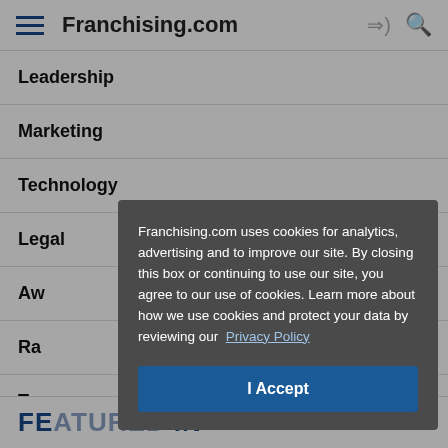Franchising.com
Leadership
Marketing
Technology
Le[gal]
Aw[ards]
Ra[nkings]
Tre[nds]
Fea[tures]
Franchising.com uses cookies for analytics, advertising and to improve our site. By closing this box or continuing to use our site, you agree to our use of cookies. Learn more about how we use cookies and protect your data by reviewing our Privacy Policy
I Accept
FEATURED IN